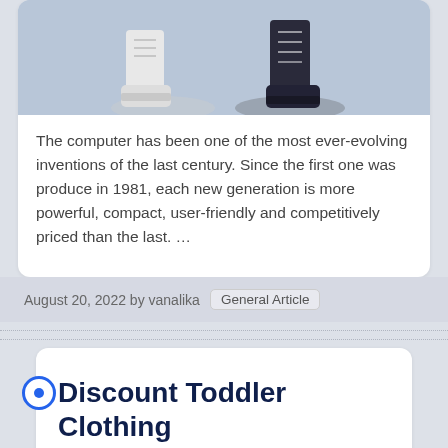[Figure (photo): Photo showing lower legs/feet of two people wearing sneakers on a light blue background, cropped at top of image]
The computer has been one of the most ever-evolving inventions of the last century. Since the first one was produce in 1981, each new generation is more powerful, compact, user-friendly and competitively priced than the last. ...
August 20, 2022 by vanalika   General Article
Discount Toddler Clothing
Discount Toddler Clothing